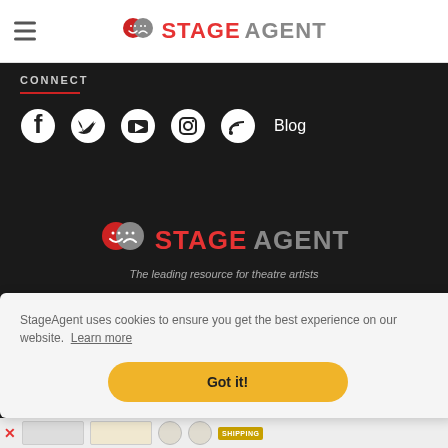StageAgent
CONNECT
[Figure (infographic): Social media icons: Facebook, Twitter, YouTube, Instagram, RSS feed, Blog]
[Figure (logo): StageAgent logo with theatre masks icon. Text: STAGE in red, AGENT in gray. Tagline: The leading resource for theatre artists]
Accessibility Statement  Terms  Privacy | StageAgent © 2020
StageAgent uses cookies to ensure you get the best experience on our website.  Learn more
Got it!